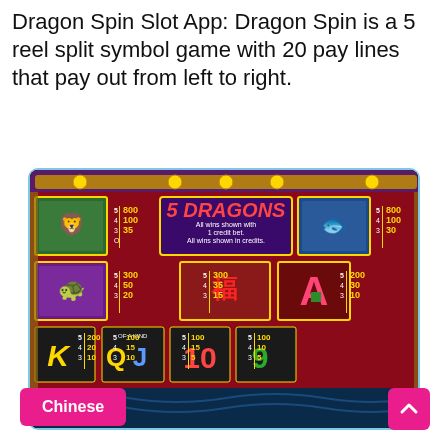Dragon Spin Slot App: Dragon Spin is a 5 reel split symbol game with 20 pay lines that pay out from left to right.
[Figure (screenshot): Screenshot of Dragon Spin slot machine paytable showing 5 Dragons game with symbols including lion, fish, turtle, lucky envelope, playing card symbols (A, K, Q, J, 10, 9) and their payout values for 3, 4, and 5 of a kind combinations.]
Chinese
^ (scroll up button)